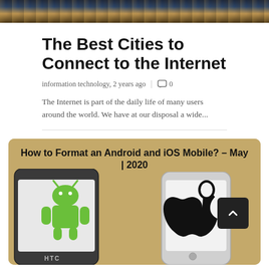[Figure (photo): Top portion of a city/night scene image, cropped at the top of the page]
The Best Cities to Connect to the Internet
information technology, 2 years ago  |  💬 0
The Internet is part of the daily life of many users around the world. We have at our disposal a wide...
[Figure (photo): Photo of an HTC Android phone with Android logo and an iOS phone with Apple logo on sandy surface, with overlay text 'How to Format an Android and iOS Mobile? – May | 2020']